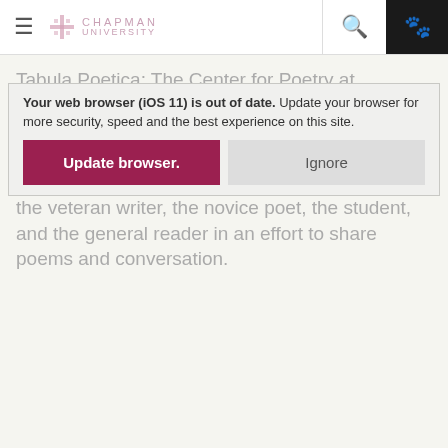Chapman University — navigation bar with hamburger menu, logo, search, and paw icon
Tabula Poetica: The Center for Poetry at Chapman University is dedicated to creating an environment to celebrate poetry in a variety of forms and venues. Here, we foster a culture of poetry appreciation by engaging and supporting the veteran writer, the novice poet, the student, and the general reader in an effort to share poems and conversation.
Your web browser (iOS 11) is out of date. Update your browser for more security, speed and the best experience on this site.
Update browser. | Ignore
Chapman University's poetry project melds the ideas of tabula rasa (or the blank slate) and ars poetica (or the art of poetry) to make a poetry table around which we, near or far, can gather. There exists much poetry already in the world, many poems have yet to be written, and we have a great deal to discuss and question about the nature of poetry. We have been trying to figure out what constitutes this art form since at least the days of Horace, which leads us to believe that the celebration and conversation are more important than reaching a firm conclusion. Tabula Poetica is the slate upon which we've decided to enter the ongoing, larger